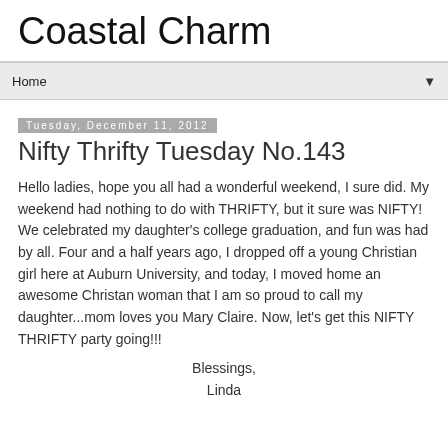Coastal Charm
Home
Tuesday, December 11, 2012
Nifty Thrifty Tuesday No.143
Hello ladies, hope you all had a wonderful weekend, I sure did. My weekend had nothing to do with THRIFTY, but it sure was NIFTY! We celebrated my daughter's college graduation, and fun was had by all. Four and a half years ago, I dropped off a young Christian girl here at Auburn University, and today, I moved home an awesome Christan woman that I am so proud to call my daughter...mom loves you Mary Claire. Now, let's get this NIFTY THRIFTY party going!!!
Blessings,
Linda